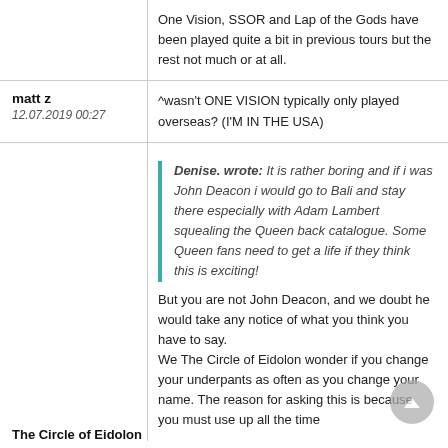One Vision, SSOR and Lap of the Gods have been played quite a bit in previous tours but the rest not much or at all.
matt z
12.07.2019 00:27
^wasn't ONE VISION typically only played overseas? (I'M IN THE USA)
Denise. wrote: It is rather boring and if i was John Deacon i would go to Bali and stay there especially with Adam Lambert squealing the Queen back catalogue. Some Queen fans need to get a life if they think this is exciting!
But you are not John Deacon, and we doubt he would take any notice of what you think you have to say.
We The Circle of Eidolon wonder if you change your underpants as often as you change your name. The reason for asking this is because you must use up all the time
The Circle of Eidolon